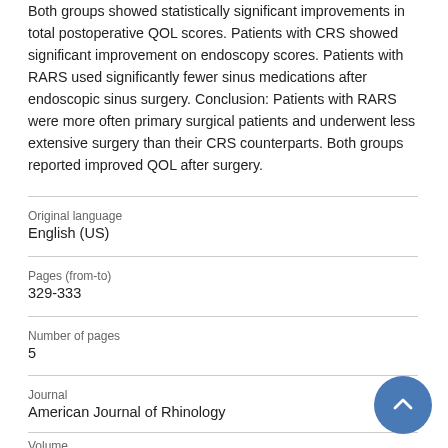Both groups showed statistically significant improvements in total postoperative QOL scores. Patients with CRS showed significant improvement on endoscopy scores. Patients with RARS used significantly fewer sinus medications after endoscopic sinus surgery. Conclusion: Patients with RARS were more often primary surgical patients and underwent less extensive surgery than their CRS counterparts. Both groups reported improved QOL after surgery.
Original language
English (US)
Pages (from-to)
329-333
Number of pages
5
Journal
American Journal of Rhinology
Volume